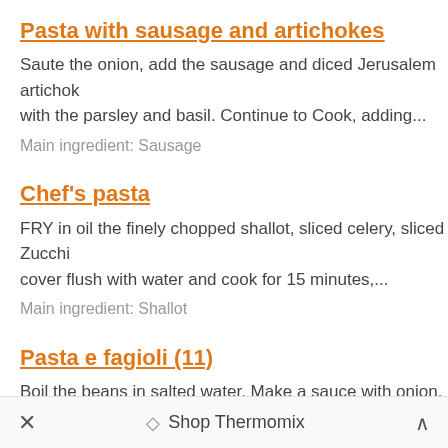Pasta with sausage and artichokes
Saute the onion, add the sausage and diced Jerusalem artichokes with the parsley and basil. Continue to Cook, adding...
Main ingredient: Sausage
Chef's pasta
FRY in oil the finely chopped shallot, sliced celery, sliced Zucchi cover flush with water and cook for 15 minutes,...
Main ingredient: Shallot
Pasta e fagioli (11)
Boil the beans in salted water. Make a sauce with onion, celery and tomato and add the beans, after 10 minutes of...
Main ingredient: Beans
Pasta e fasoi at padua
× Shop Thermomix ^